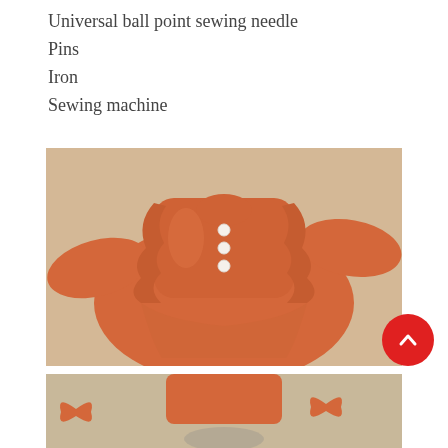Universal ball point sewing needle
Pins
Iron
Sewing machine
[Figure (photo): Orange long-sleeve ruffled children's dress laid flat on a light wooden surface, featuring a V-neckline with white buttons and gathered ruffle trim across the chest and shoulders.]
[Figure (photo): Partial view of a child wearing an orange outfit with an orange bow hair accessory, shown from below the waist.]